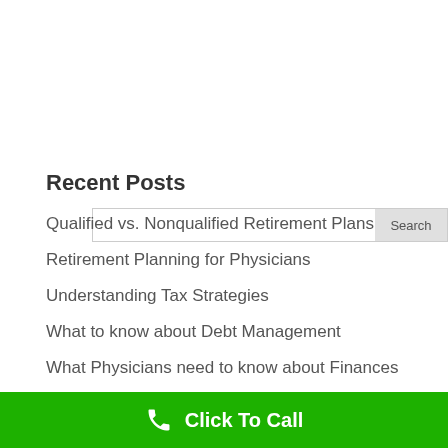[Figure (other): Search input box with a Search button on the right]
Recent Posts
Qualified vs. Nonqualified Retirement Plans
Retirement Planning for Physicians
Understanding Tax Strategies
What to know about Debt Management
What Physicians need to know about Finances
Recent Comments
Click To Call